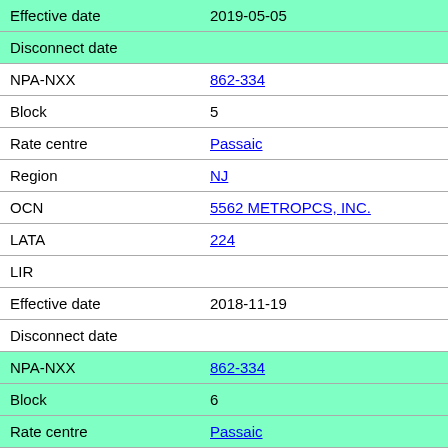| Field | Value |
| --- | --- |
| Effective date | 2019-05-05 |
| Disconnect date |  |
| NPA-NXX | 862-334 |
| Block | 5 |
| Rate centre | Passaic |
| Region | NJ |
| OCN | 5562 METROPCS, INC. |
| LATA | 224 |
| LIR |  |
| Effective date | 2018-11-19 |
| Disconnect date |  |
| NPA-NXX | 862-334 |
| Block | 6 |
| Rate centre | Passaic |
| Region | NJ |
| OCN | 5562 METROPCS, INC. |
| LATA | 224 |
| LIR |  |
| Effective date | 2018-11-19 |
| Disconnect date |  |
| NPA-NXX | 862-334 |
| Block | 7 |